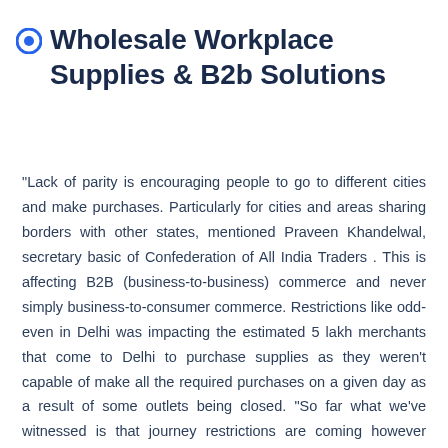Wholesale Workplace Supplies & B2b Solutions
"Lack of parity is encouraging people to go to different cities and make purchases. Particularly for cities and areas sharing borders with other states, mentioned Praveen Khandelwal, secretary basic of Confederation of All India Traders . This is affecting B2B (business-to-business) commerce and never simply business-to-consumer commerce. Restrictions like odd-even in Delhi was impacting the estimated 5 lakh merchants that come to Delhi to purchase supplies as they weren't capable of make all the required purchases on a given day as a result of some outlets being closed. "So far what we've witnessed is that journey restrictions are coming however they're not as critical as the curbs on movement inside cities like Delhi and Mumbai